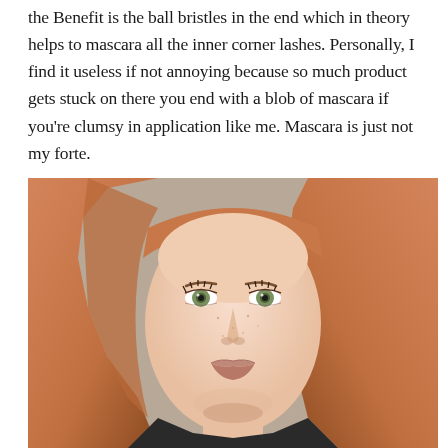the Benefit is the ball bristles in the end which in theory helps to mascara all the inner corner lashes. Personally, I find it useless if not annoying because so much product gets stuck on there you end with a blob of mascara if you're clumsy in application like me. Mascara is just not my forte.
[Figure (photo): Close-up portrait of a young woman with straight reddish-orange hair, green eyes, light skin with freckles, wearing light makeup and dark top, looking slightly upward.]